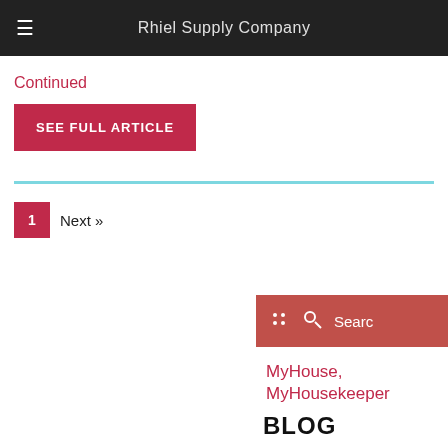Rhiel Supply Company
Continued
SEE FULL ARTICLE
1  Next »
Search
MyHouse, MyHousekeeper
BLOG